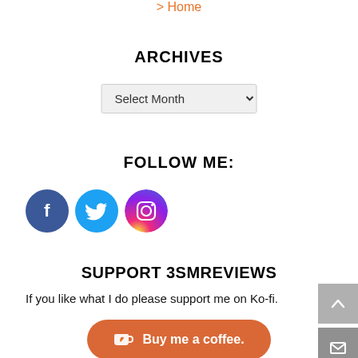> Home
ARCHIVES
[Figure (other): Select Month dropdown UI element]
FOLLOW ME:
[Figure (other): Three social media icons: Facebook (dark blue circle with f), Twitter (light blue circle with bird), Instagram (gradient circle with camera)]
SUPPORT 3SMREVIEWS
If you like what I do please support me on Ko-fi.
[Figure (other): Orange Ko-fi button with coffee cup icon and text 'Buy me a coffee.']